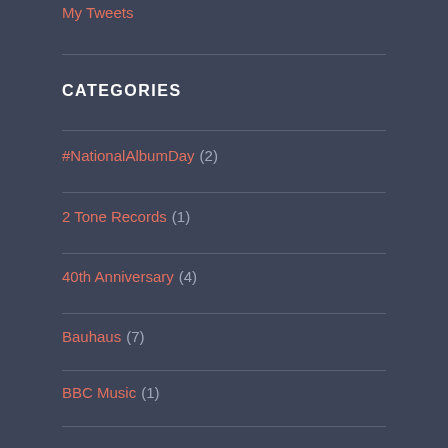My Tweets
CATEGORIES
#NationalAlbumDay (2)
2 Tone Records (1)
40th Anniversary (4)
Bauhaus (7)
BBC Music (1)
Bernard Sumner (1)
Blogzine (1)
Buzzcocks (2)